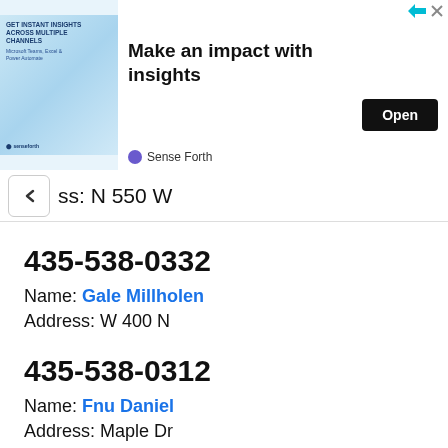[Figure (screenshot): Advertisement banner: 'Make an impact with insights' with Open button, Sense Forth branding]
ss: N 550 W
435-538-0332
Name: Gale Millholen
Address: W 400 N
435-538-0312
Name: Fnu Daniel
Address: Maple Dr